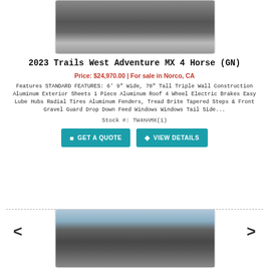[Figure (photo): Top cropped photo of a road/pavement surface]
2023 Trails West Adventure MX 4 Horse (GN)
Price: $24,970.00 | For sale in Norco, CA
Features STANDARD FEATURES: 6' 9" Wide, 70" Tall Triple Wall Construction Aluminum Exterior Sheets 1 Piece Aluminum Roof 4 Wheel Electric Brakes Easy Lube Hubs Radial Tires Aluminum Fenders, Tread Brite Tapered Steps & Front Gravel Guard Drop Down Feed Windows Windows Tail Side...
Stock #: TW4HAMX(1)
GET A QUOTE
VIEW DETAILS
[Figure (photo): Horse trailer front view photo showing a gray aluminum horse trailer]